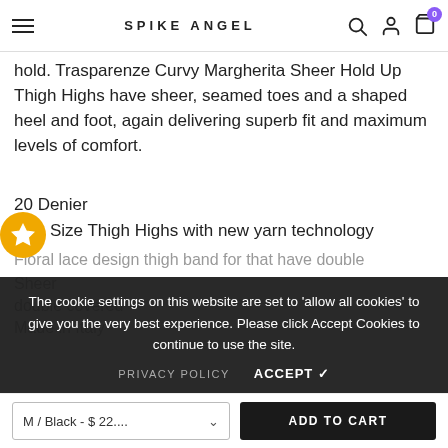SPIKE ANGEL
hold. Trasparenze Curvy Margherita Sheer Hold Up Thigh Highs have sheer, seamed toes and a shaped heel and foot, again delivering superb fit and maximum levels of comfort.
20 Denier
Size Thigh Highs with new yarn technology
Floral lace design thigh band for that have double
Sheer
double covered
Made in Italy
The cookie settings on this website are set to 'allow all cookies' to give you the very best experience. Please click Accept Cookies to continue to use the site.
PRIVACY POLICY    ACCEPT ✓
M / Black - $22.... ADD TO CART